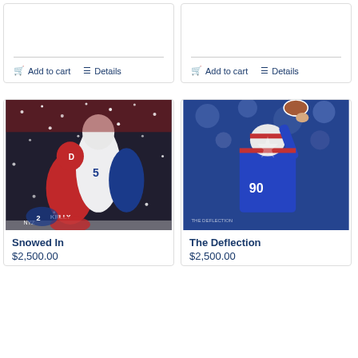[Figure (other): Partial top-left product card with Add to cart and Details buttons, content cut off at top]
[Figure (other): Partial top-right product card with Add to cart and Details buttons, content cut off at top]
[Figure (photo): Football art painting titled Snowed In showing players in a snowy game scene, colors red white blue]
Snowed In
$2,500.00
[Figure (photo): Football art painting titled The Deflection showing player making a catch with colorful artistic effect]
The Deflection
$2,500.00